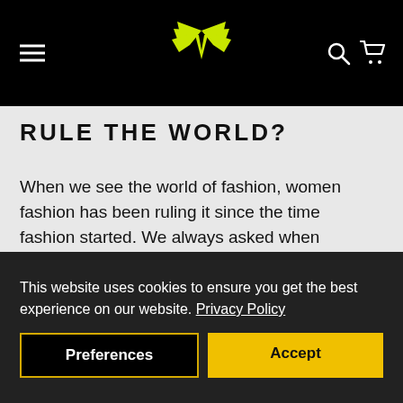[Figure (logo): Black navigation header with hamburger menu on left, yellow winged logo in center, search and cart icons on right]
RULE THE WORLD?
When we see the world of fashion, women fashion has been ruling it since the time fashion started. We always asked when men fashion will come, put ...
Read more
This website uses cookies to ensure you get the best experience on our website. Privacy Policy